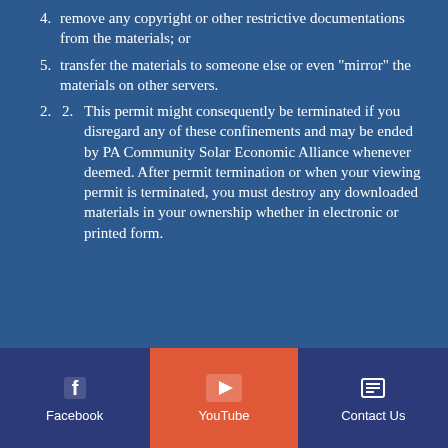4. remove any copyright or other restrictive documentations from the materials; or
5. transfer the materials to someone else or even "mirror" the materials on other servers.
2. This permit might consequently be terminated if you disregard any of these confinements and may be ended by PA Community Solar Economic Alliance whenever deemed. After permit termination or when your viewing permit is terminated, you must destroy any downloaded materials in your ownership whether in electronic or printed form.
[Figure (infographic): Footer navigation bar with three buttons: Facebook (blue background with Facebook logo), YouTube (red/orange background with play button icon), and Contact Us (dark blue background with list icon)]